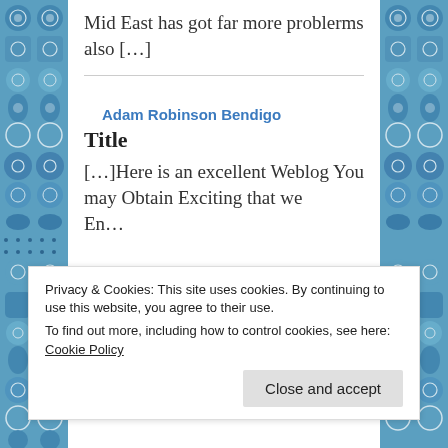Mid East has got far more problerms also [...]
Adam Robinson Bendigo
Title
[...]Here is an excellent Weblog You may Obtain Exciting that we Encourage You[...]
Privacy & Cookies: This site uses cookies. By continuing to use this website, you agree to their use.
To find out more, including how to control cookies, see here: Cookie Policy
Close and accept